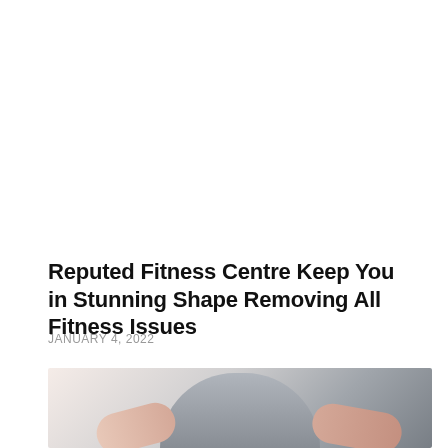Reputed Fitness Centre Keep You in Stunning Shape Removing All Fitness Issues
JANUARY 4, 2022
[Figure (photo): Partial photo of a person at a fitness centre, showing arms and upper body against a grey/white background, cropped at the bottom of the page.]